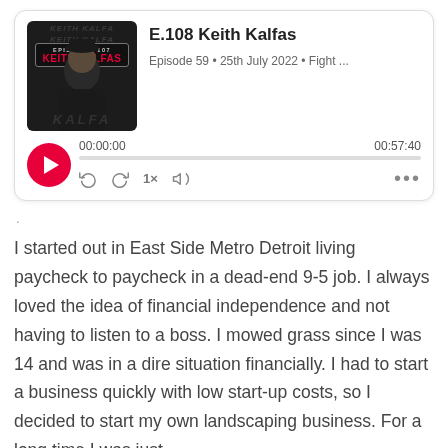[Figure (screenshot): Podcast player card showing episode E.108 Keith Kalfas. Thumbnail shows episode 107 with Keith Kalfas in black shirt. Episode info: Episode 59 · 25th July 2022 · Fight ... Playback time: 00:00:00 / 00:57:40. Controls: play button (pink), rewind, fast-forward, 1x speed, volume, more options.]
.
I started out in East Side Metro Detroit living paycheck to paycheck in a dead-end 9-5 job. I always loved the idea of financial independence and not having to listen to a boss. I mowed grass since I was 14 and was in a dire situation financially. I had to start a business quickly with low start-up costs, so I decided to start my own landscaping business. For a long time I was just